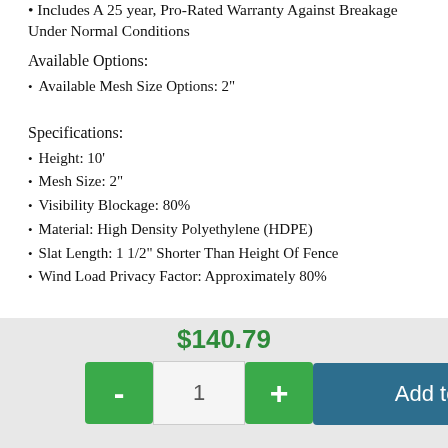• Includes A 25 year, Pro-Rated Warranty Against Breakage Under Normal Conditions
Available Options:
• Available Mesh Size Options: 2"
Specifications:
• Height: 10'
• Mesh Size: 2"
• Visibility Blockage: 80%
• Material: High Density Polyethylene (HDPE)
• Slat Length: 1 1/2" Shorter Than Height Of Fence
• Wind Load Privacy Factor: Approximately 80%
$140.79
- 1 +
Add to Cart